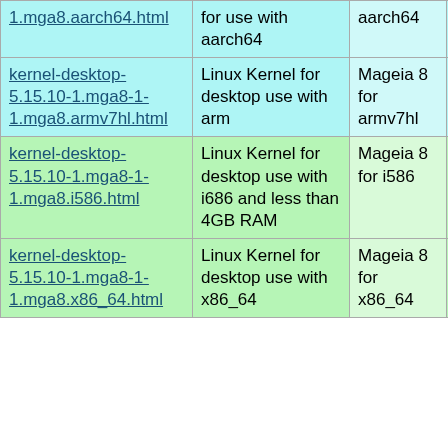| 1.mga8.aarch64.html | for use with aarch64 | aarch64 | 1.mga8.aarch64.rpm |
| kernel-desktop-5.15.10-1.mga8-1-1.mga8.armv7hl.html | Linux Kernel for desktop use with arm | Mageia 8 for armv7hl | kernel-desktop-5.15.10-1.mga8-1-1.mga8.armv7hl.rpm |
| kernel-desktop-5.15.10-1.mga8-1-1.mga8.i586.html | Linux Kernel for desktop use with i686 and less than 4GB RAM | Mageia 8 for i586 | kernel-desktop-5.15.10-1.mga8-1-1.mga8.i586.rpm |
| kernel-desktop-5.15.10-1.mga8-1-1.mga8.x86_64.html | Linux Kernel for desktop use with x86_64 | Mageia 8 for x86_64 | kernel-desktop-5.15.10-1.mga8-1-1.mga8.x86_64.rpm |